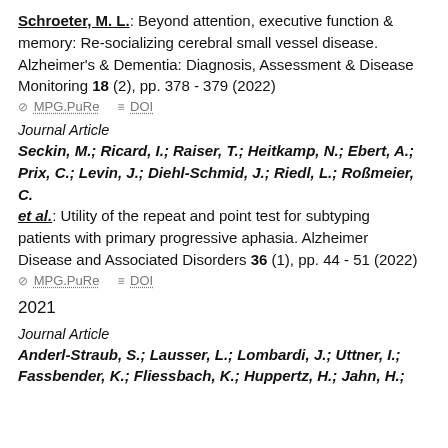Schroeter, M. L.: Beyond attention, executive function & memory: Re-socializing cerebral small vessel disease. Alzheimer's & Dementia: Diagnosis, Assessment & Disease Monitoring 18 (2), pp. 378 - 379 (2022)
MPG.PuRe   DOI
Journal Article
Seckin, M.; Ricard, I.; Raiser, T.; Heitkamp, N.; Ebert, A.; Prix, C.; Levin, J.; Diehl-Schmid, J.; Riedl, L.; Roßmeier, C. et al.: Utility of the repeat and point test for subtyping patients with primary progressive aphasia. Alzheimer Disease and Associated Disorders 36 (1), pp. 44 - 51 (2022)
MPG.PuRe   DOI
2021
Journal Article
Anderl-Straub, S.; Lausser, L.; Lombardi, J.; Uttner, I.; Fassbender, K.; Fliessbach, K.; Huppertz, H.; Jahn, H.;